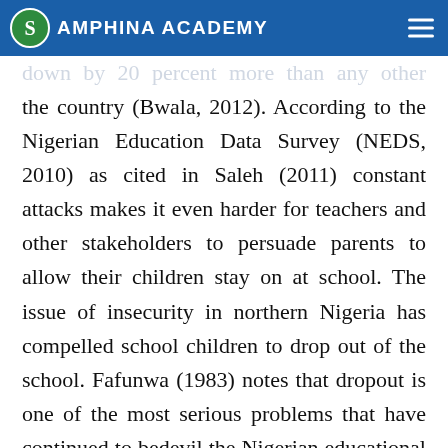Amphina Academy
the country (Bwala, 2012). According to the Nigerian Education Data Survey (NEDS, 2010) as cited in Saleh (2011) constant attacks makes it even harder for teachers and other stakeholders to persuade parents to allow their children stay on at school. The issue of insecurity in northern Nigeria has compelled school children to drop out of the school. Fafunwa (1983) notes that dropout is one of the most serious problems that have continued to bedevil the Nigerian educational system from the colonial administration up to independence in 1960 and even beyond. This view is supported by Patrick (2012) who demonstrates that...